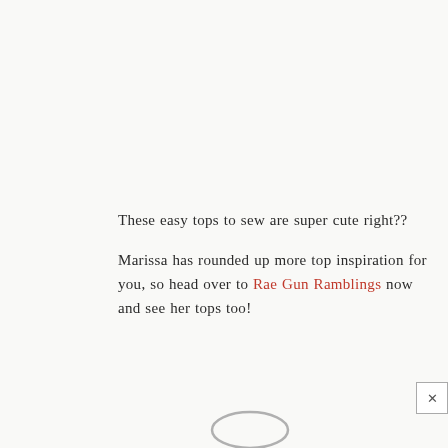These easy tops to sew are super cute right??
Marissa has rounded up more top inspiration for you, so head over to Rae Gun Ramblings now and see her tops too!
[Figure (illustration): Partial decorative signature or logo mark visible at the bottom center of the page, grey oval/loop shape]